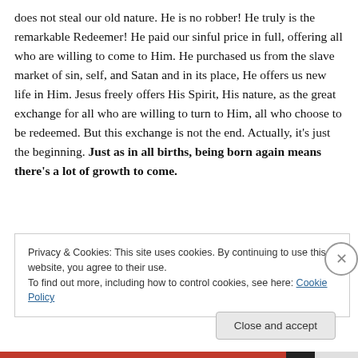does not steal our old nature. He is no robber! He truly is the remarkable Redeemer! He paid our sinful price in full, offering all who are willing to come to Him. He purchased us from the slave market of sin, self, and Satan and in its place, He offers us new life in Him. Jesus freely offers His Spirit, His nature, as the great exchange for all who are willing to turn to Him, all who choose to be redeemed. But this exchange is not the end. Actually, it's just the beginning. Just as in all births, being born again means there's a lot of growth to come.
Privacy & Cookies: This site uses cookies. By continuing to use this website, you agree to their use.
To find out more, including how to control cookies, see here: Cookie Policy